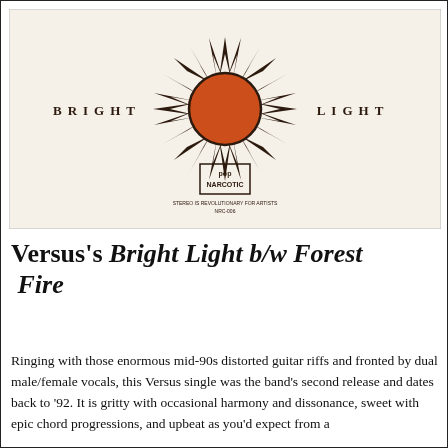[Figure (illustration): Album cover for Versus's 'Bright Light b/w Forest Fire'. Cream/off-white background with a stylized orange and dark brown sun logo in the center. Text 'BRIGHT' on the left and 'LIGHT' on the right in spaced serif capitals. Small 'Pop Narcotic' label logo and text at the bottom center.]
Versus's Bright Light b/w Forest Fire
Ringing with those enormous mid-90s distorted guitar riffs and fronted by dual male/female vocals, this Versus single was the band's second release and dates back to '92. It is gritty with occasional harmony and dissonance, sweet with epic chord progressions, and upbeat as you'd expect from a